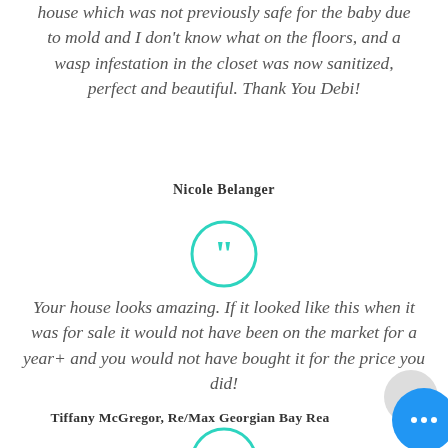house which was not previously safe for the baby due to mold and I don't know what on the floors, and a wasp infestation in the closet was now sanitized, perfect and beautiful. Thank You Debi!
Nicole Belanger
[Figure (illustration): Teal quotation mark icon inside a teal circle outline]
Your house looks amazing. If it looked like this when it was for sale it would not have been on the market for a year+ and you would not have bought it for the price you did!
Tiffany McGregor, Re/Max Georgian Bay Rea...
[Figure (illustration): Teal quotation mark icon inside a teal circle outline (partially visible at bottom)]
[Figure (illustration): Grey circular button overlay and blue circular button with three white dots (UI elements)]